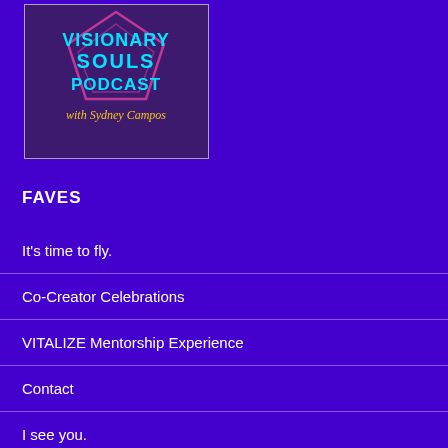[Figure (logo): Visionary Souls Podcast logo with Sydney Campos. Purple/dark background with pink star/pentagon outline. Teal geometric text reading VISIONARY SOULS PODCAST with yellow cursive text 'with Sydney Campos' below.]
FAVES
It's time to fly.
Co-Creator Celebrations
VITALIZE Mentorship Experience
Contact
I see you.
VITALIZE